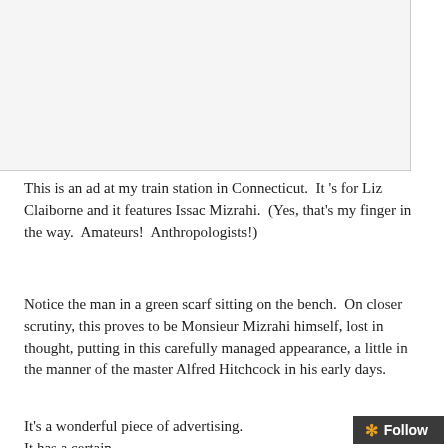[Figure (photo): A photograph of an advertisement at a train station, largely white/blank in this cropped view]
This is an ad at my train station in Connecticut.  It 's for Liz Claiborne and it features Issac Mizrahi.  (Yes, that's my finger in the way.  Amateurs!  Anthropologists!)
Notice the man in a green scarf sitting on the bench.  On closer scrutiny, this proves to be Monsieur Mizrahi himself, lost in thought, putting in this carefully managed appearance, a little in the manner of the master Alfred Hitchcock in his early days.
It's a wonderful piece of advertising.  It has a certain